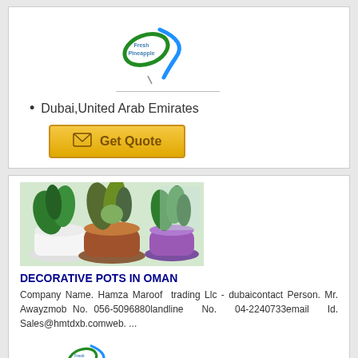[Figure (logo): Fresh Pineapple company logo with green and blue swoosh design]
Dubai,United Arab Emirates
[Figure (other): Get Quote button with envelope icon, gold/yellow background]
[Figure (photo): Photo of decorative plant pots - white, copper/brown, and purple pots with green plants]
DECORATIVE POTS IN OMAN
Company Name. Hamza Maroof trading Llc - dubaicontact Person. Mr. Awayzmob No. 056-5096880landline No. 04-2240733email Id. Sales@hmtdxb.comweb. ...
[Figure (logo): Fresh Pineapple company logo with green and blue swoosh design (partial, bottom)]